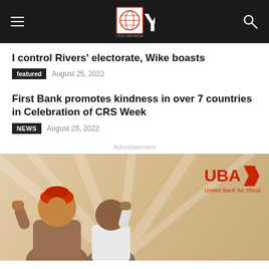Orijo Reporter
I control Rivers’ electorate, Wike boasts
featured  August 25, 2022
First Bank promotes kindness in over 7 countries in Celebration of CRS Week
NEWS  August 25, 2022
Advertisement
[Figure (photo): UBA (United Bank for Africa) advertisement banner showing two smiling young people with raised fists on a warm beige background, with UBA logo in red on the right side]